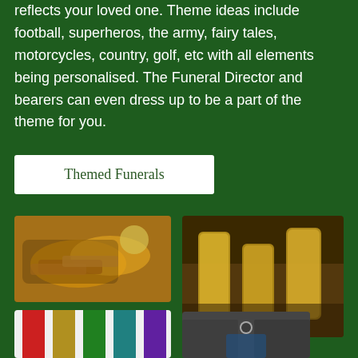reflects your loved one. Theme ideas include football, superheros, the army, fairy tales, motorcycles, country, golf, etc with all elements being personalised. The Funeral Director and bearers can even dress up to be a part of the theme for you.
Themed Funerals
[Figure (photo): A basket of fish and chips (fried fish with golden chips/fries) with a slice of lemon visible]
[Figure (photo): Three whisky glasses filled with amber whisky arranged on a dark wooden bar surface]
[Figure (photo): Five colourful neckties hanging side by side in red, gold/yellow, green, teal, and purple colours against a white background]
[Figure (photo): Two men from behind looking at a laptop or screen, with a small football/soccer ball visible, seemingly planning an event]